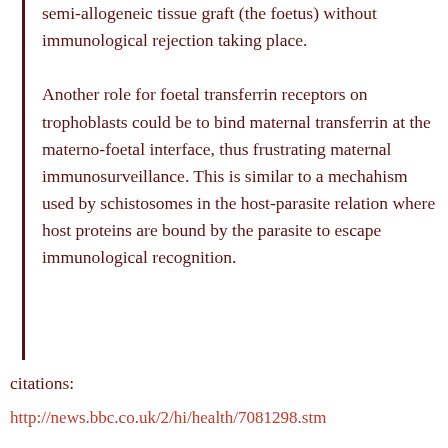semi-allogeneic tissue graft (the foetus) without immunological rejection taking place.

Another role for foetal transferrin receptors on trophoblasts could be to bind maternal transferrin at the materno-foetal interface, thus frustrating maternal immunosurveillance. This is similar to a mechahism used by schistosomes in the host-parasite relation where host proteins are bound by the parasite to escape immunological recognition.
citations:
http://news.bbc.co.uk/2/hi/health/7081298.stm